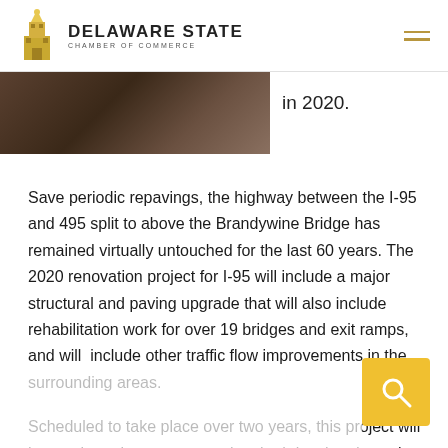Delaware State Chamber of Commerce
[Figure (photo): Partial view of a desk/table surface, darkly lit, showing papers or documents]
in 2020.
Save periodic repavings, the highway between the I-95 and 495 split to above the Brandywine Bridge has remained virtually untouched for the last 60 years. The 2020 renovation project for I-95 will include a major structural and paving upgrade that will also include rehabilitation work for over 19 bridges and exit ramps, and will include other traffic flow improvements in the surrounding areas.
Scheduled to take place over two years, this project will have a large impact on travelers both local and passing through Delaware, as it will likely convert